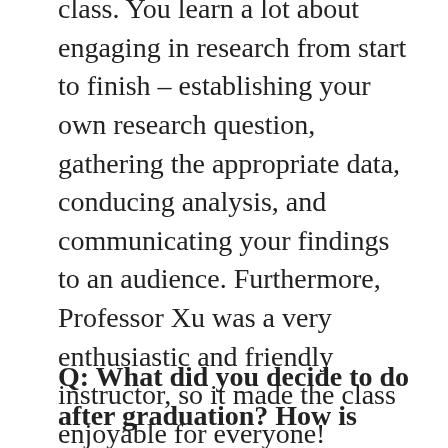class. You learn a lot about engaging in research from start to finish – establishing your own research question, gathering the appropriate data, conducing analysis, and communicating your findings to an audience. Furthermore, Professor Xu was a very enthusiastic and friendly instructor, so it made the class enjoyable for everyone!
Q: What did you decide to do after graduation? How is your